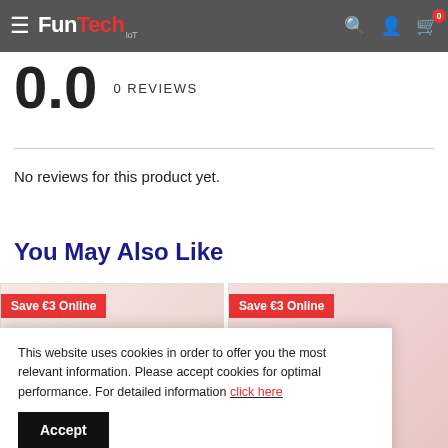FunTech IoT — navigation bar with search, account, cart (0 items)
0.0    0 REVIEWS
No reviews for this product yet.
You May Also Like
[Figure (other): Two product cards each labelled 'Save €3 Online' with product images partially visible]
This website uses cookies in order to offer you the most relevant information. Please accept cookies for optimal performance. For detailed information click here
Accept